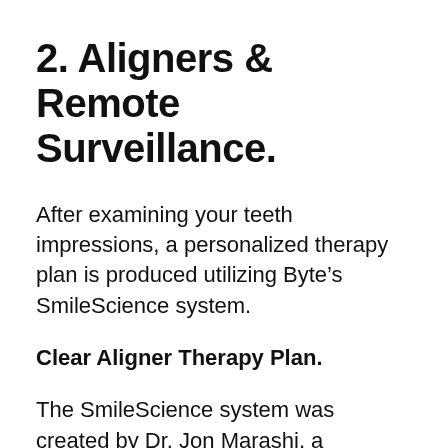2. Aligners & Remote Surveillance.
After examining your teeth impressions, a personalized therapy plan is produced utilizing Byte’s SmileScience system.
Clear Aligner Therapy Plan.
The SmileScience system was created by Dr. Jon Marashi, a cosmetic dental professional in Hollywood. It integrates aesthetic accuracy utilizing five factors of evaluation, which assists figure out the best tooth placement for your one-of-a-kind face structure. The outcome is a digital 3D version that shows what your smile might